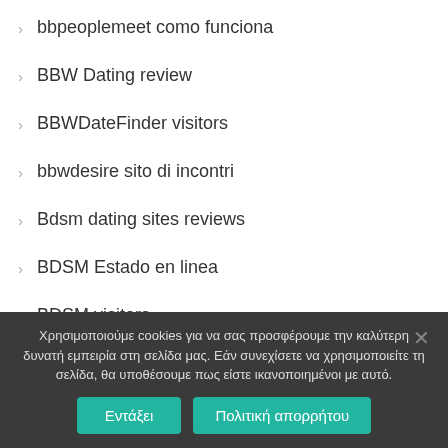bbpeoplemeet como funciona
BBW Dating review
BBWDateFinder visitors
bbwdesire sito di incontri
Bdsm dating sites reviews
BDSM Estado en linea
BDSM visitors
bdsm.com review
be2 como funciona
Χρησιμοποιούμε cookies για να σας προσφέρουμε την καλύτερη δυνατή εμπειρία στη σελίδα μας. Εάν συνεχίσετε να χρησιμοποιείτε τη σελίδα, θα υποθέσουμε πως είστε ικανοποιημένοι με αυτό.
Εντάξει | Πολιτική απορρήτου